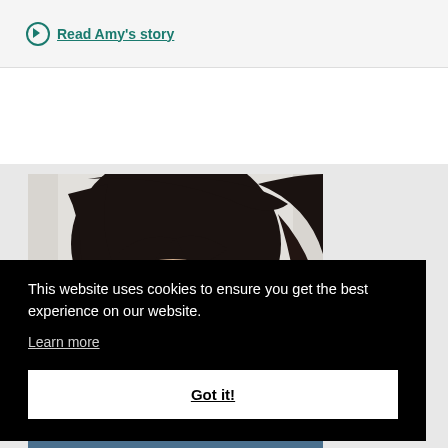Read Amy's story
[Figure (photo): Portrait photo of a woman with dark hair, partially visible, cropped to show head and upper shoulders against a light background]
This website uses cookies to ensure you get the best experience on our website.
Learn more
Got it!